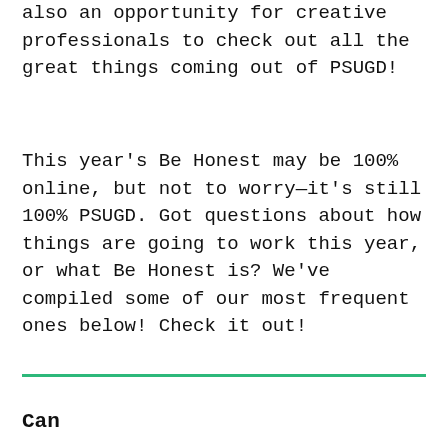also an opportunity for creative professionals to check out all the great things coming out of PSUGD!
This year's Be Honest may be 100% online, but not to worry—it's still 100% PSUGD. Got questions about how things are going to work this year, or what Be Honest is? We've compiled some of our most frequent ones below! Check it out!
Can